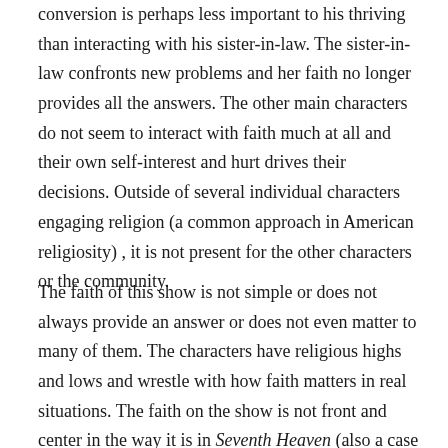conversion is perhaps less important to his thriving than interacting with his sister-in-law. The sister-in-law confronts new problems and her faith no longer provides all the answers. The other main characters do not seem to interact with faith much at all and their own self-interest and hurt drives their decisions. Outside of several individual characters engaging religion (a common approach in American religiosity) , it is not present for the other characters or the community.
The faith of this show is not simple or does not always provide an answer or does not even matter to many of them. The characters have religious highs and lows and wrestle with how faith matters in real situations. The faith on the show is not front and center in the way it is in Seventh Heaven (also a case study in Howell's book) nor is it derided or just a cultural artifact.